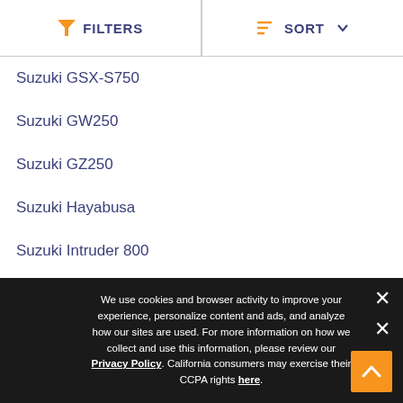FILTERS | SORT
Suzuki GSX-S750
Suzuki GW250
Suzuki GZ250
Suzuki Hayabusa
Suzuki Intruder 800
Suzuki JR50
Suzuki Savage
Suzuki SV650
Suzuki SV650S
Suzuki V-Strom 1000
We use cookies and browser activity to improve your experience, personalize content and ads, and analyze how our sites are used. For more information on how we collect and use this information, please review our Privacy Policy. California consumers may exercise their CCPA rights here.